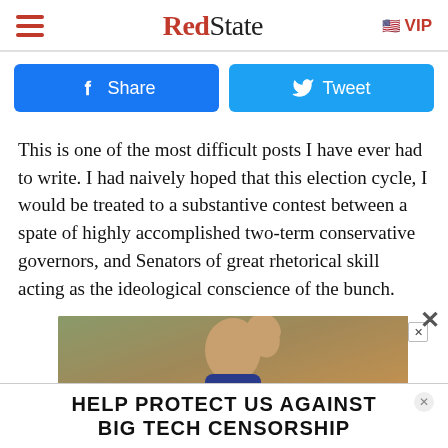RedState | VIP
[Figure (other): Facebook Share button and Twitter Tweet button side by side]
This is one of the most difficult posts I have ever had to write. I had naively hoped that this election cycle, I would be treated to a substantive contest between a spate of highly accomplished two-term conservative governors, and Senators of great rhetorical skill acting as the ideological conscience of the bunch.
[Figure (photo): Man waving with overlaid red text and advertisement overlay reading HELP PROTECT US AGAINST BIG TECH CENSORSHIP]